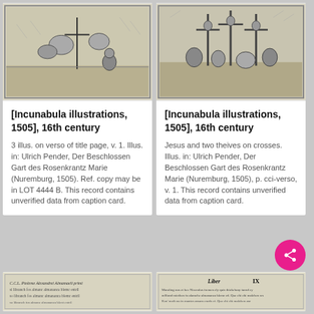[Figure (illustration): Medieval woodcut illustration showing a kneeling figure tending to plants/garden scene]
[Incunabula illustrations, 1505], 16th century
3 illus. on verso of title page, v. 1. Illus. in: Ulrich Pender, Der Beschlossen Gart des Rosenkrantz Marie (Nuremburg, 1505). Ref. copy may be in LOT 4444 B. This record contains unverified data from caption card.
[Figure (illustration): Medieval woodcut illustration showing Jesus and two thieves on crosses]
[Incunabula illustrations, 1505], 16th century
Jesus and two theives on crosses. Illus. in: Ulrich Pender, Der Beschlossen Gart des Rosenkrantz Marie (Nuremburg, 1505), p. cci-verso, v. 1. This record contains unverified data from caption card.
[Figure (illustration): Bottom left card showing old printed text page]
[Figure (illustration): Bottom right card showing old printed text with 'Liber IX' heading]